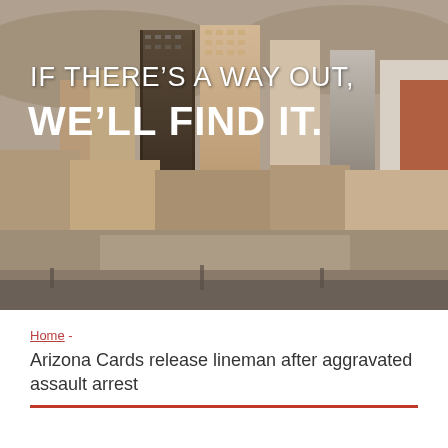[Figure (photo): Aerial cityscape of Phoenix, Arizona with tall commercial buildings and urban sprawl. Overlaid with white text reading 'IF THERE'S A WAY OUT,' on top and 'WE'LL FIND IT.' in large bold text below.]
Home -
Arizona Cards release lineman after aggravated assault arrest